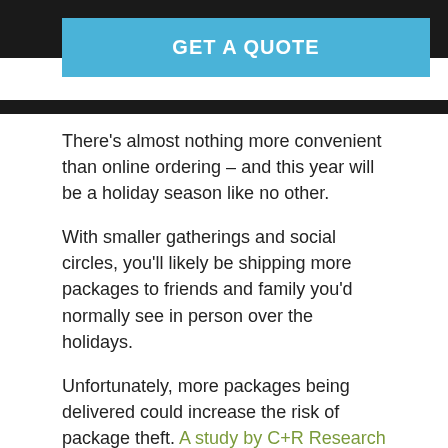[Figure (other): Blue 'GET A QUOTE' button on dark background header bar]
There's almost nothing more convenient than online ordering – and this year will be a holiday season like no other.
With smaller gatherings and social circles, you'll likely be shipping more packages to friends and family you'd normally see in person over the holidays.
Unfortunately, more packages being delivered could increase the risk of package theft. A study by C+R Research estimates that 36% of survey respondents have had a package swiped from their doorstep before the…